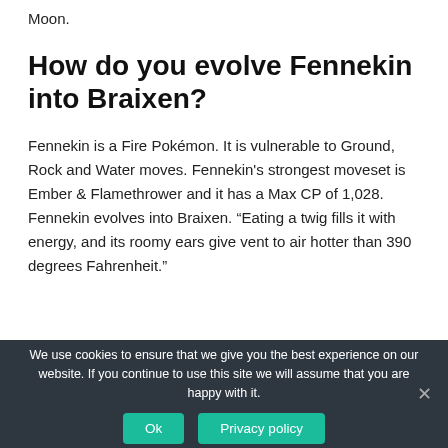Moon.
How do you evolve Fennekin into Braixen?
Fennekin is a Fire Pokémon. It is vulnerable to Ground, Rock and Water moves. Fennekin's strongest moveset is Ember & Flamethrower and it has a Max CP of 1,028. Fennekin evolves into Braixen. “Eating a twig fills it with energy, and its roomy ears give vent to air hotter than 390 degrees Fahrenheit.”
We use cookies to ensure that we give you the best experience on our website. If you continue to use this site we will assume that you are happy with it.